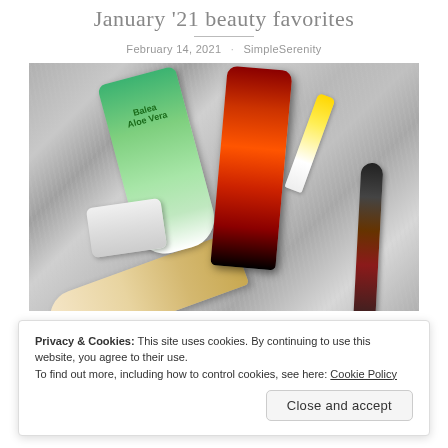January '21 beauty favorites
February 14, 2021 · SimpleSerenity
[Figure (photo): Flat lay photo of beauty products on a grey fluffy carpet: Balea Aloe Vera body gel, an oriental-style hand cream, a small cream jar, a serum dropper bottle, a yellow lip balm stick, and a skin care tube]
Privacy & Cookies: This site uses cookies. By continuing to use this website, you agree to their use.
To find out more, including how to control cookies, see here: Cookie Policy
Close and accept